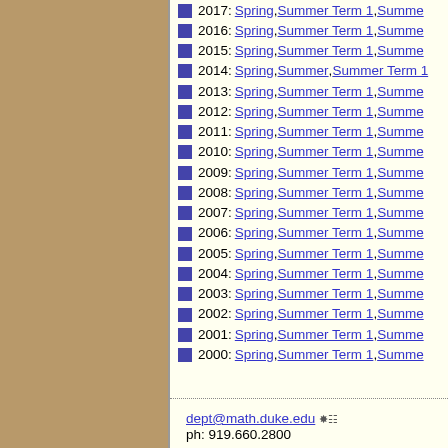2017: Spring, Summer Term 1, Summe...
2016: Spring, Summer Term 1, Summe...
2015: Spring, Summer Term 1, Summe...
2014: Spring, Summer, Summer Term 1...
2013: Spring, Summer Term 1, Summe...
2012: Spring, Summer Term 1, Summe...
2011: Spring, Summer Term 1, Summe...
2010: Spring, Summer Term 1, Summe...
2009: Spring, Summer Term 1, Summe...
2008: Spring, Summer Term 1, Summe...
2007: Spring, Summer Term 1, Summe...
2006: Spring, Summer Term 1, Summe...
2005: Spring, Summer Term 1, Summe...
2004: Spring, Summer Term 1, Summe...
2003: Spring, Summer Term 1, Summe...
2002: Spring, Summer Term 1, Summe...
2001: Spring, Summer Term 1, Summe...
2000: Spring, Summer Term 1, Summe...
dept@math.duke.edu  ph: 919.660.2800